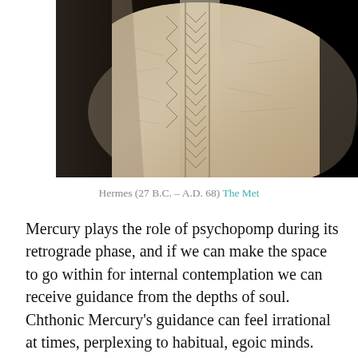[Figure (photo): Ancient carved stone or ivory fragment showing geometric incised pattern (Hermes artifact from The Met, 27 B.C. – A.D. 68), photographed against black background]
Hermes (27 B.C. – A.D. 68) The Met
Mercury plays the role of psychopomp during its retrograde phase, and if we can make the space to go within for internal contemplation we can receive guidance from the depths of soul.  Chthonic Mercury's guidance can feel irrational at times, perplexing to habitual, egoic minds.  Since Mercury is aligning with Saturn at the end of its time in Sagittarius and will station direct following the ingress of